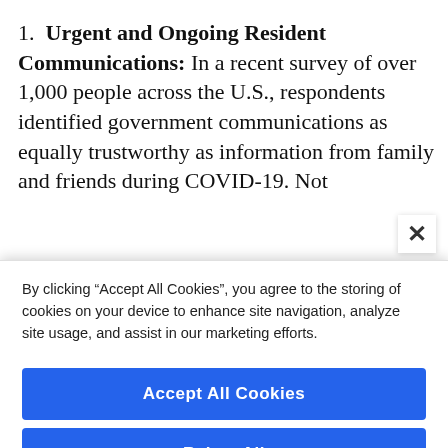1. Urgent and Ongoing Resident Communications: In a recent survey of over 1,000 people across the U.S., respondents identified government communications as equally trustworthy as information from family and friends during COVID-19. Not
By clicking "Accept All Cookies", you agree to the storing of cookies on your device to enhance site navigation, analyze site usage, and assist in our marketing efforts.
Accept All Cookies
Reject All
Cookies Settings